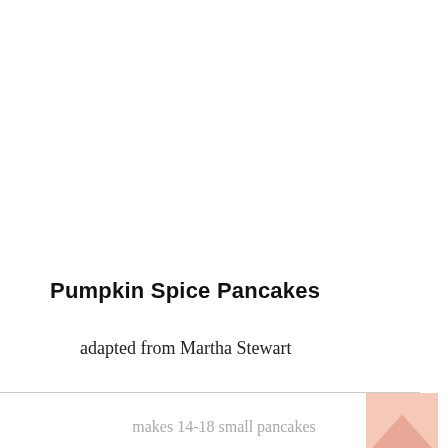Pumpkin Spice Pancakes
adapted from Martha Stewart
makes 14-18 small pancakes